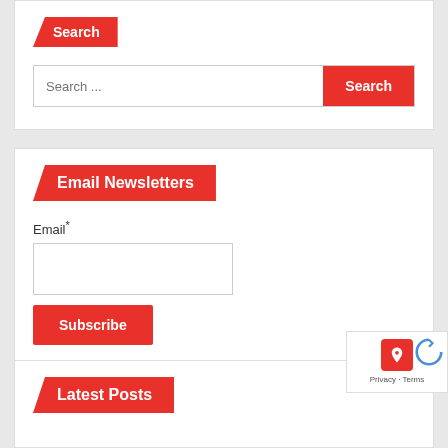Search
Search ...
Email Newsletters
Email*
Subscribe
Latest Posts